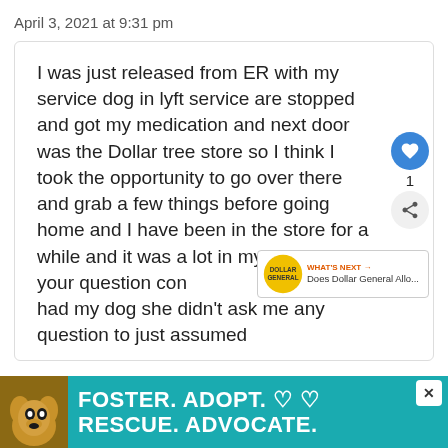April 3, 2021 at 9:31 pm
I was just released from ER with my service dog in lyft service are stopped and got my medication and next door was the Dollar tree store so I think I took the opportunity to go over there and grab a few things before going home and I have been in the store for a while and it was a lot in my ass to cash your question con of that I had my dog she didn't ask me any question to just assumed
[Figure (infographic): Dollar General 'What's Next' overlay with logo]
[Figure (infographic): Foster. Adopt. Rescue. Advocate. advertisement banner with dog image]